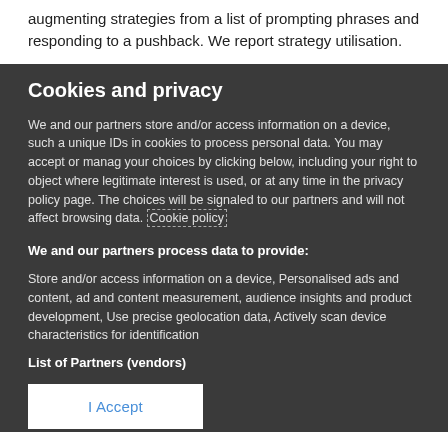augmenting strategies from a list of prompting phrases and responding to a pushback. We report strategy utilisation.
Cookies and privacy
We and our partners store and/or access information on a device, such a unique IDs in cookies to process personal data. You may accept or manage your choices by clicking below, including your right to object where legitimate interest is used, or at any time in the privacy policy page. These choices will be signaled to our partners and will not affect browsing data. Cookie policy
We and our partners process data to provide:
Store and/or access information on a device, Personalised ads and content, ad and content measurement, audience insights and product development, Use precise geolocation data, Actively scan device characteristics for identification
List of Partners (vendors)
I Accept